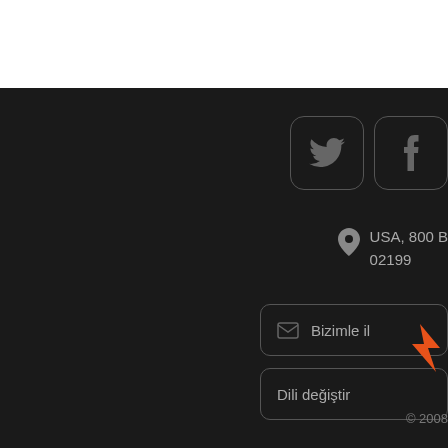[Figure (logo): Twitter bird icon in a rounded square button (dark background, gray border)]
[Figure (logo): Facebook 'f' icon in a rounded square button (dark background, gray border)]
USA, 800 B
02199
[Figure (other): Envelope/mail icon inside a rounded button]
Bizimle il
Dili değiştir
[Figure (logo): Orange lightning bolt / flag logo mark]
© 2008